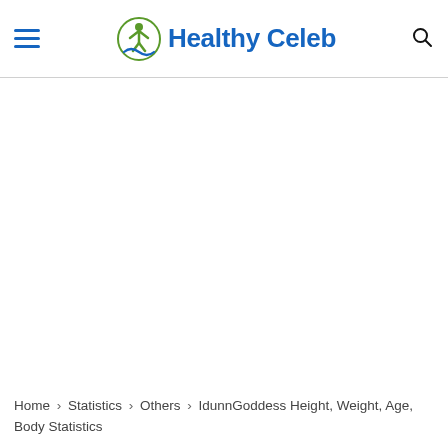Healthy Celeb
Home › Statistics › Others › IdunnGoddess Height, Weight, Age, Body Statistics